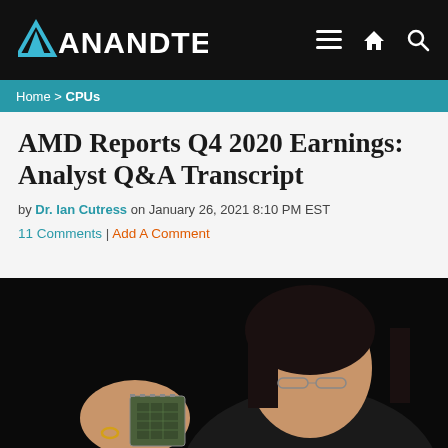AnandTech
Home > CPUs
AMD Reports Q4 2020 Earnings: Analyst Q&A Transcript
by Dr. Ian Cutress on January 26, 2021 8:10 PM EST
11 Comments | Add A Comment
[Figure (photo): Photo of AMD CEO Lisa Su holding a processor chip against a dark background]